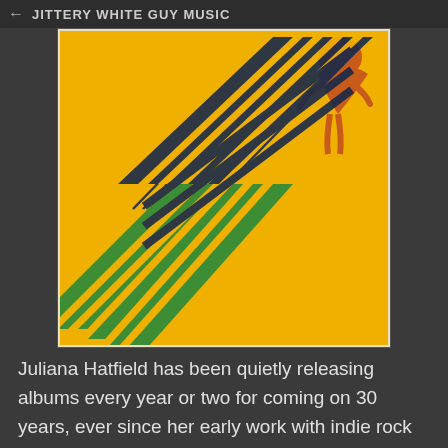JITTERY WHITE GUY MUSIC
[Figure (illustration): Album cover for Juliana Hatfield on a yellow/gold background with stylized perspective text reading 'JULIANA HATFIELD' in dark navy and green, with an orange illustrated figure in the top right corner.]
Juliana Hatfield has been quietly releasing albums every year or two for coming on 30 years, ever since her early work with indie rock near-breakouts the Blake Babies, making it unfortunately easy to take her for granted.  And